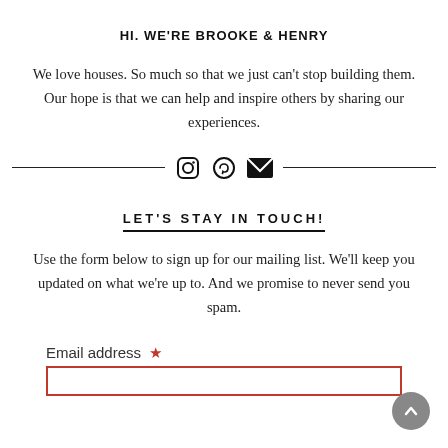HI. WE'RE BROOKE & HENRY
We love houses. So much so that we just can't stop building them. Our hope is that we can help and inspire others by sharing our experiences.
[Figure (other): Social media icons row with divider lines: Instagram, Pinterest, and email icons centered between two horizontal lines]
LET'S STAY IN TOUCH!
Use the form below to sign up for our mailing list. We'll keep you updated on what we're up to. And we promise to never send you spam.
Email address *